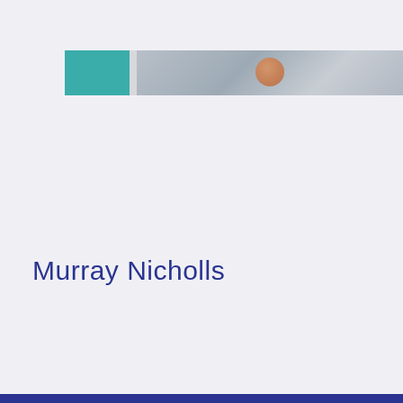[Figure (photo): Partial photograph showing a person with reddish-brown hair in what appears to be an office or clinical setting, with a teal/green panel on the left side of the image]
Murray Nicholls